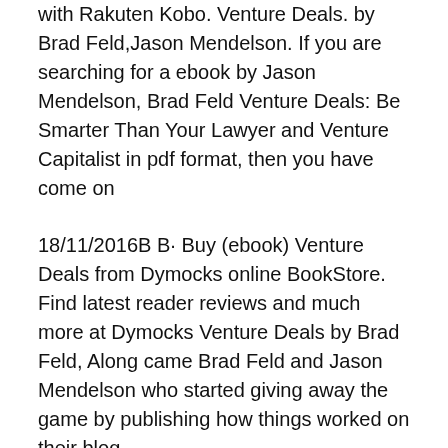with Rakuten Kobo. Venture Deals. by Brad Feld,Jason Mendelson. If you are searching for a ebook by Jason Mendelson, Brad Feld Venture Deals: Be Smarter Than Your Lawyer and Venture Capitalist in pdf format, then you have come on
18/11/2016B B· Buy (ebook) Venture Deals from Dymocks online BookStore. Find latest reader reviews and much more at Dymocks Venture Deals by Brad Feld, Along came Brad Feld and Jason Mendelson who started giving away the game by publishing how things worked on their blog.
A full revised edition of the Wall Street Journal bestselling book on startups and